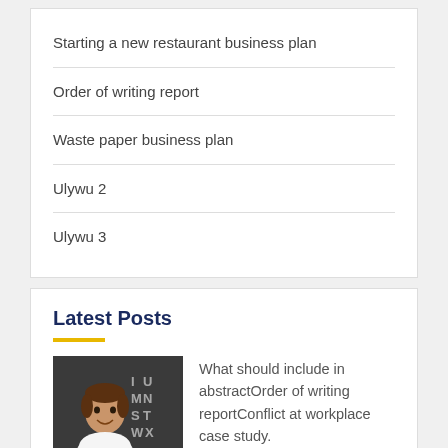Starting a new restaurant business plan
Order of writing report
Waste paper business plan
Ulywu 2
Ulywu 3
Latest Posts
[Figure (photo): Young child smiling in front of a chalkboard with letters written on it]
What should include in abstractOrder of writing reportConflict at workplace case study.